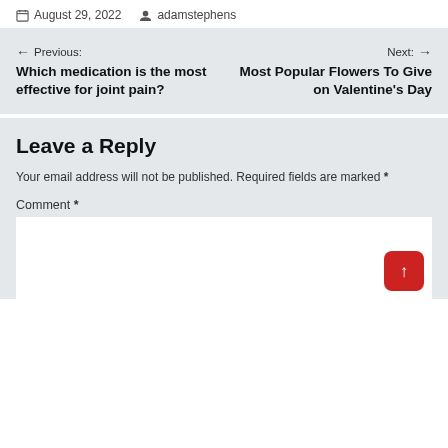August 29, 2022   adamstephens
← Previous: Which medication is the most effective for joint pain?
Next: → Most Popular Flowers To Give on Valentine's Day
Leave a Reply
Your email address will not be published. Required fields are marked *
Comment *